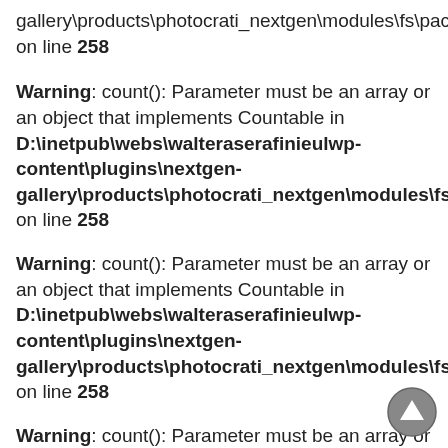gallery\products\photocrati_nextgen\modules\fs\package.modu on line 258
Warning: count(): Parameter must be an array or an object that implements Countable in D:\inetpub\webs\walteraserafinieulwp-content\plugins\nextgen-gallery\products\photocrati_nextgen\modules\fs\package.modu on line 258
Warning: count(): Parameter must be an array or an object that implements Countable in D:\inetpub\webs\walteraserafinieulwp-content\plugins\nextgen-gallery\products\photocrati_nextgen\modules\fs\package.modu on line 258
Warning: count(): Parameter must be an array or an object that implements Countable in